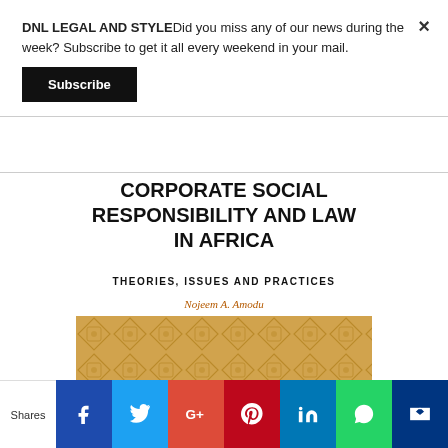DNL LEGAL AND STYLEDid you miss any of our news during the week? Subscribe to get it all every weekend in your mail.
Subscribe
CORPORATE SOCIAL RESPONSIBILITY AND LAW IN AFRICA
THEORIES, ISSUES AND PRACTICES
Nojeem A. Amodu
[Figure (photo): Book cover with orange/tan geometric diamond pattern background]
Shares